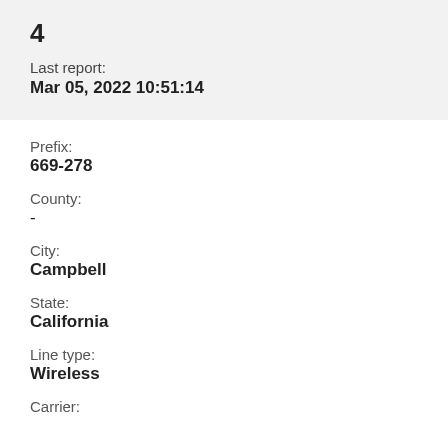4
Last report:
Mar 05, 2022 10:51:14
Prefix:
669-278
County:
-
City:
Campbell
State:
California
Line type:
Wireless
Carrier: